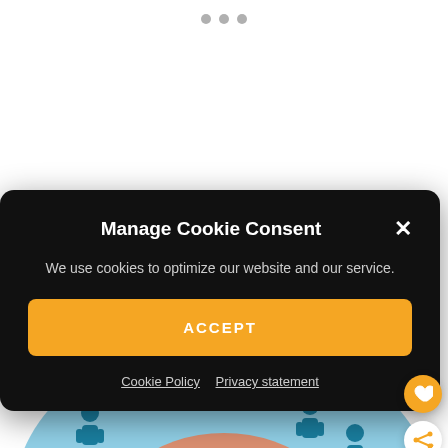[Figure (screenshot): Three gray dots at top center of page, indicating a carousel or slide indicator]
Manage Cookie Consent
We use cookies to optimize our website and our service.
ACCEPT
Cookie Policy  Privacy statement
[Figure (infographic): Partially visible infographic showing nested audience circles: 'Cold audience' (blue outer) and 'Warm audience' (orange inner), with person icons]